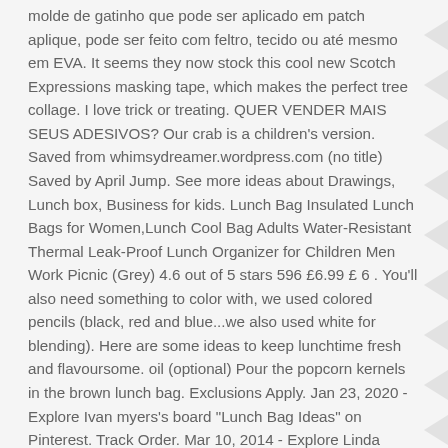molde de gatinho que pode ser aplicado em patch aplique, pode ser feito com feltro, tecido ou até mesmo em EVA. It seems they now stock this cool new Scotch Expressions masking tape, which makes the perfect tree collage. I love trick or treating. QUER VENDER MAIS SEUS ADESIVOS? Our crab is a children's version. Saved from whimsydreamer.wordpress.com (no title) Saved by April Jump. See more ideas about Drawings, Lunch box, Business for kids. Lunch Bag Insulated Lunch Bags for Women,Lunch Cool Bag Adults Water-Resistant Thermal Leak-Proof Lunch Organizer for Children Men Work Picnic (Grey) 4.6 out of 5 stars 596 £6.99 £ 6 . You'll also need something to color with, we used colored pencils (black, red and blue...we also used white for blending). Here are some ideas to keep lunchtime fresh and flavoursome. oil (optional) Pour the popcorn kernels in the brown lunch bag. Exclusions Apply. Jan 23, 2020 - Explore Ivan myers's board "Lunch Bag Ideas" on Pinterest. Track Order. Mar 10, 2014 - Explore Linda Wooten's board "Lunch bag art" on Pinterest. My daughter's lunch bag drawing reveals rapidly became a big hit in her classroom... and a major talking point at